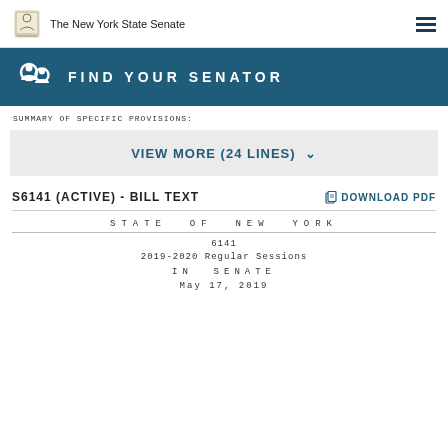The New York State Senate
[Figure (infographic): Find Your Senator banner with search icon on teal/dark blue background]
SUMMARY OF SPECIFIC PROVISIONS:
VIEW MORE (24 LINES)
S6141 (ACTIVE) - BILL TEXT
DOWNLOAD PDF
STATE OF NEW YORK
6141
2019-2020 Regular Sessions
IN SENATE
May 17, 2019